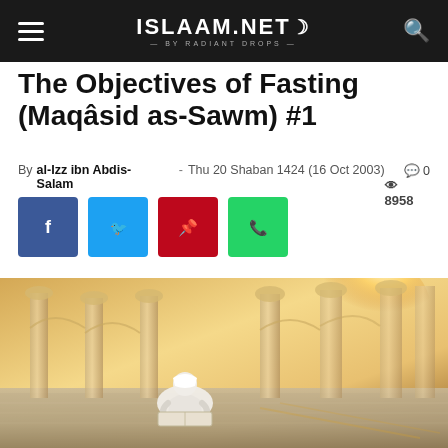ISLAAM.NET BY RADIANT DROPS
The Objectives of Fasting (Maqâsid as-Sawm) #1
By al-Izz ibn Abdis-Salam - Thu 20 Shaban 1424 (16 Oct 2003)  0  8958
[Figure (photo): Person dressed in white sitting cross-legged reading a book in a grand mosque with ornate columns and golden sunlight filtering through in the background]
[Figure (infographic): Social sharing buttons: Facebook (blue), Twitter (light blue), Pinterest (red), WhatsApp (green)]